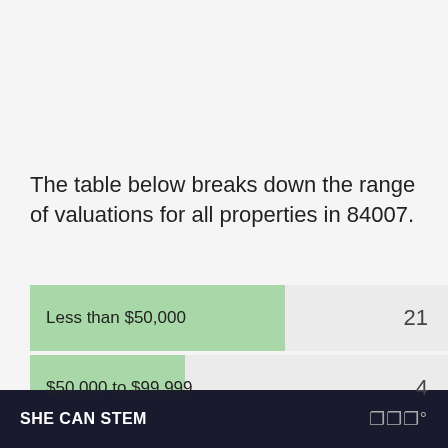The table below breaks down the range of valuations for all properties in 84007.
[Figure (bar-chart): Property valuations in 84007]
SHE CAN STEM